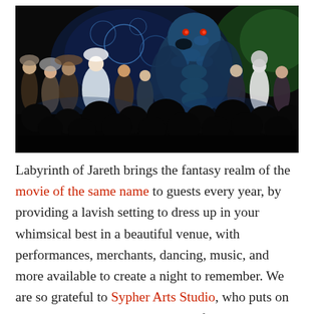[Figure (photo): A stage performance photo showing costumed performers on a dark stage. A large blue dragon puppet/costume dominates the center-right. Performers in elaborate fantasy costumes stand across the stage. The audience silhouettes are visible in the foreground bottom.]
Labyrinth of Jareth brings the fantasy realm of the movie of the same name to guests every year, by providing a lavish setting to dress up in your whimsical best in a beautiful venue, with performances, merchants, dancing, music, and more available to create a night to remember. We are so grateful to Sypher Arts Studio, who puts on this annual event, and giving all of us nerds a chance to dress up and have the chance to